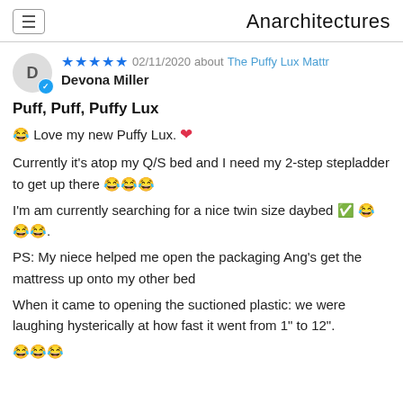Anarchitectures
D  ★★★★★ 02/11/2020 about The Puffy Lux Mattr  Devona Miller
Puff, Puff, Puffy Lux
😂 Love my new Puffy Lux. ❤️
Currently it's atop my Q/S bed and I need my 2-step stepladder to get up there 😂😂😂
I'm am currently searching for a nice twin size daybed ✅ 😂😂😂.
PS: My niece helped me open the packaging Ang's get the mattress up onto my other bed
When it came to opening the suctioned plastic: we were laughing hysterically at how fast it went from 1" to 12".
😂😂😂